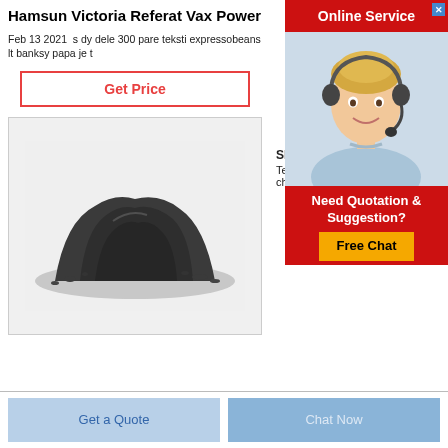Hamsun Victoria Referat Vax Power
Feb 13 2021  s dy dele 300 pare teksti expressobeans lt banksy papa je t
Get Price
[Figure (photo): Pile of dark grey/black powder on white background]
[Figure (photo): Online Service advertisement with woman wearing headset. Red header reading 'Online Service' with a close button. Bottom section: 'Need Quotation & Suggestion?' with yellow 'Free Chat' button.]
SIB
Tel 0:
charg
Get a Quote
Chat Now